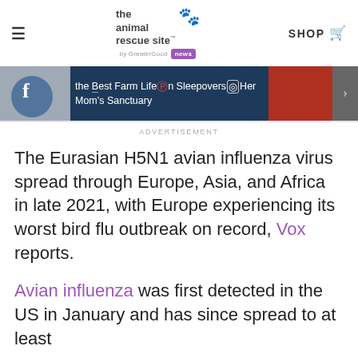the animal rescue site by GreaterGood news | SHOP
[Figure (screenshot): Banner/carousel strip showing social media icons and article preview: 'the Best Farm Life Sleepovers Her Mom's Sanctuary']
ADVERTISEMENT
The Eurasian H5N1 avian influenza virus spread through Europe, Asia, and Africa in late 2021, with Europe experiencing its worst bird flu outbreak on record, Vox reports.
Avian influenza was first detected in the US in January and has since spread to at least